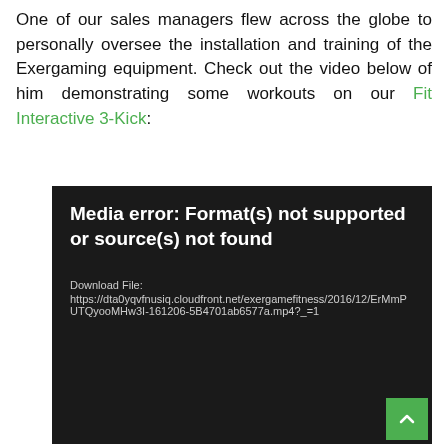One of our sales managers flew across the globe to personally oversee the installation and training of the Exergaming equipment. Check out the video below of him demonstrating some workouts on our Fit Interactive 3-Kick:
[Figure (screenshot): Video player showing media error: Format(s) not supported or source(s) not found. Download File link shown: https://dta0yqvfnusiq.cloudfront.net/exergamefitness/2016/12/ErMmPUTQyooMHw3I-161206-5B4701ab6577a.mp4?_=1]